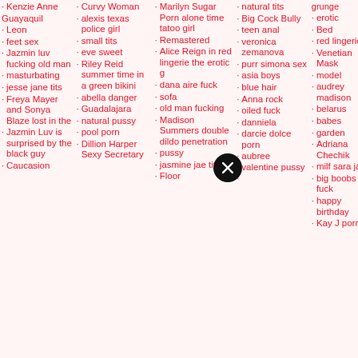Kenzie Anne
Guayaquil
Leon
feet sex
Jazmin luv fucking old man
masturbating
jesse jane tits
Freya Mayer and Sonya Blaze lost in the
Jazmin Luv is surprised by the black guy
Caucasion
Curvy Woman
alexis texas police girl
small tits
eve sweet
Riley Reid summer time in a green bikini
abella danger
Guadalajara
natural pussy
pool porn
Dillion Harper Sexy Secretary
Marilyn Sugar Porn alone time tatoo girl
Remastered
Alice Reign in red lingerie the erotic g
dana aire fuck
sofa
old man fucking
Madison Summers double dildo penetration
pussy
jasmine jae titis
Floor
natural tits
Big Cock Bully
teen anal
veronica zemanova
purr simona sex
asia boys
blue hair
Anna rock
oiled fuck
danniela
darcie dolce porn
aubree valentine pussy
grunge erotic
Bed
red lingerie
Venetian Mask
model
audrey madison
belarus
babes
garden
Adriana Chechik
milf sara jay
big boobs fuck
happy birthday
Kay J porn